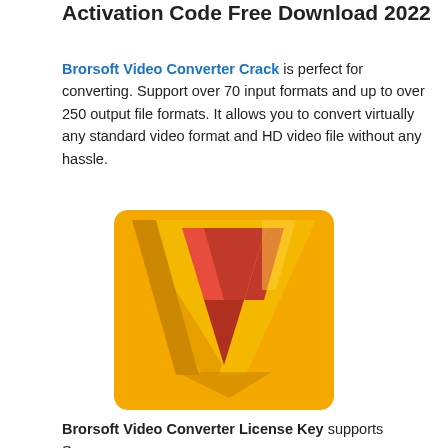Activation Code Free Download 2022
Brorsoft Video Converter Crack is perfect for converting. Support over 70 input formats and up to over 250 output file formats. It allows you to convert virtually any standard video format and HD video file without any hassle.
[Figure (logo): Brorsoft Video Converter logo — a yellow/gold square with a large 3D downward-pointing chevron/V shape in red-orange gradient.]
Brorsoft Video Converter License Key supports Samsung